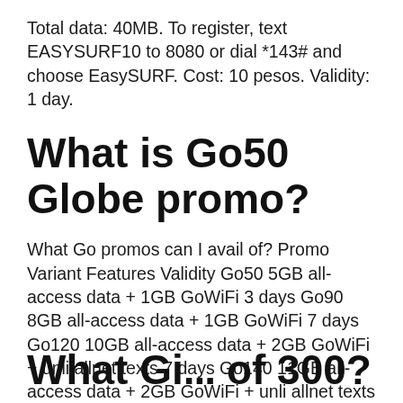Total data: 40MB. To register, text EASYSURF10 to 8080 or dial *143# and choose EasySURF. Cost: 10 pesos. Validity: 1 day.
What is Go50 Globe promo?
What Go promos can I avail of? Promo Variant Features Validity Go50 5GB all-access data + 1GB GoWiFi 3 days Go90 8GB all-access data + 1GB GoWiFi 7 days Go120 10GB all-access data + 2GB GoWiFi + unli allnet texts 7 days Go140 11GB all-access data + 2GB GoWiFi + unli allnet texts 7 days
What Gi... of 300?